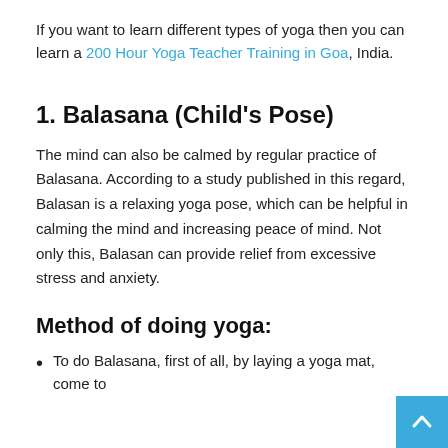If you want to learn different types of yoga then you can learn a 200 Hour Yoga Teacher Training in Goa, India.
1. Balasana (Child's Pose)
The mind can also be calmed by regular practice of Balasana. According to a study published in this regard, Balasan is a relaxing yoga pose, which can be helpful in calming the mind and increasing peace of mind. Not only this, Balasan can provide relief from excessive stress and anxiety.
Method of doing yoga:
To do Balasana, first of all, by laying a yoga mat, come to...